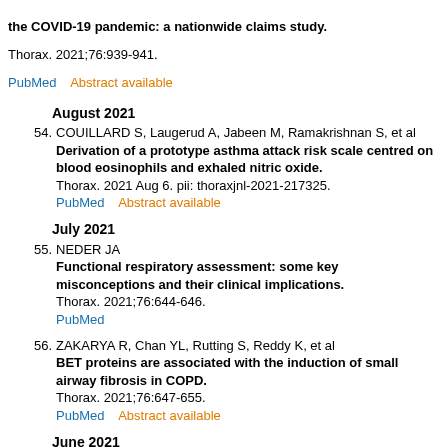the COVID-19 pandemic: a nationwide claims study.
Thorax. 2021;76:939-941.
PubMed    Abstract available
August 2021
54. COUILLARD S, Laugerud A, Jabeen M, Ramakrishnan S, et al
Derivation of a prototype asthma attack risk scale centred on blood eosinophils and exhaled nitric oxide.
Thorax. 2021 Aug 6. pii: thoraxjnl-2021-217325.
PubMed    Abstract available
July 2021
55. NEDER JA
Functional respiratory assessment: some key misconceptions and their clinical implications.
Thorax. 2021;76:644-646.
PubMed
56. ZAKARYA R, Chan YL, Rutting S, Reddy K, et al
BET proteins are associated with the induction of small airway fibrosis in COPD.
Thorax. 2021;76:647-655.
PubMed    Abstract available
June 2021
57. TAYLOR D, Jenkins AR, Parrott K, Benham A, et al